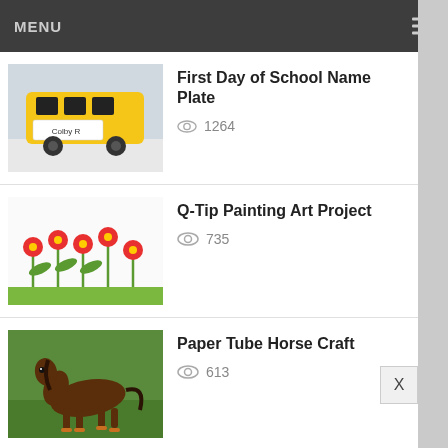MENU
First Day of School Name Plate
Q-Tip Painting Art Project
Paper Tube Horse Craft
Fall Cut and Paste Activity Pages